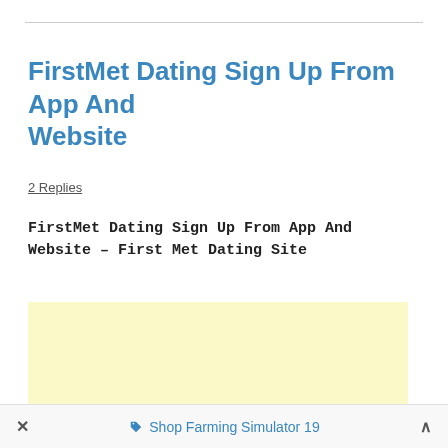FirstMet Dating Sign Up From App And Website
2 Replies
FirstMet Dating Sign Up From App And Website – First Met Dating Site
[Figure (other): Advertisement placeholder block with pale yellow background]
× ♦ Shop Farming Simulator 19 ∧